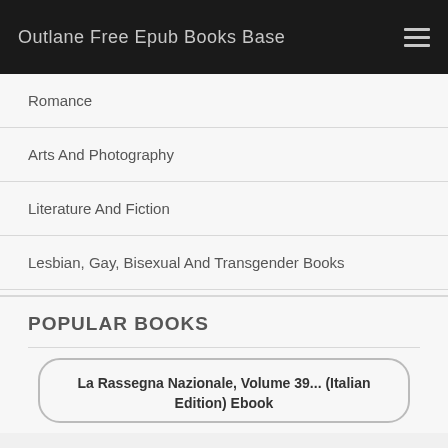Outlane Free Epub Books Base
Romance
Arts And Photography
Literature And Fiction
Lesbian, Gay, Bisexual And Transgender Books
Religion And Spirituality
POPULAR BOOKS
La Rassegna Nazionale, Volume 39... (Italian Edition) Ebook